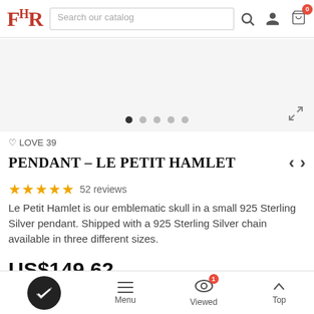[Figure (screenshot): E-commerce website header with FR logo, search bar, and icons for search, user account, and cart (badge showing 0)]
[Figure (other): Product image carousel area with 5 navigation dots and expand icon]
♡ LOVE 39
PENDANT – LE PETIT HAMLET
52 reviews
Le Petit Hamlet is our emblematic skull in a small 925 Sterling Silver pendant. Shipped with a 925 Sterling Silver chain available in three different sizes.
US$149.62
[Figure (screenshot): Bottom navigation bar with checkmark circle button, Menu (hamburger), Viewed (with badge 1), and Top (arrow up) options]